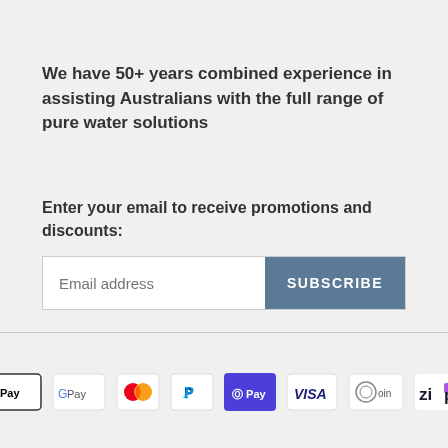We have 50+ years combined experience in assisting Australians with the full range of pure water solutions
Enter your email to receive promotions and discounts:
[Figure (other): Email subscribe form with 'Email address' placeholder text field and 'SUBSCRIBE' button]
[Figure (other): Payment method logos: Apple Pay, Google Pay, Mastercard, PayPal, OPay, Visa, Qoin, Zip]